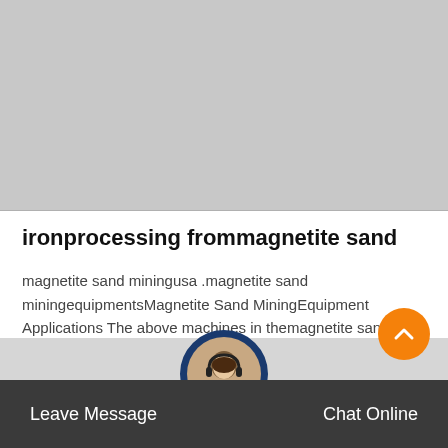[Figure (photo): Gray placeholder image area at the top of the page]
ironprocessing frommagnetite sand
magnetite sand miningusa .magnetite sand miningequipmentsMagnetite Sand MiningEquipment Applications The above machines in themagnetite sand miningprocess are provided by Xuanshi which is a professional and famous Chat…
Get Price
[Figure (photo): Customer service representative avatar in circular frame at bottom center]
Leave Message   Chat Online